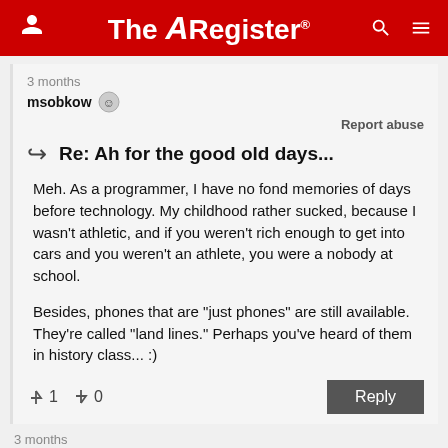The Register
3 months
msobkow
Report abuse
Re: Ah for the good old days...
Meh. As a programmer, I have no fond memories of days before technology. My childhood rather sucked, because I wasn't athletic, and if you weren't rich enough to get into cars and you weren't an athlete, you were a nobody at school.
Besides, phones that are "just phones" are still available. They're called "land lines." Perhaps you've heard of them in history class... :)
↑1   ↓0   Reply
3 months